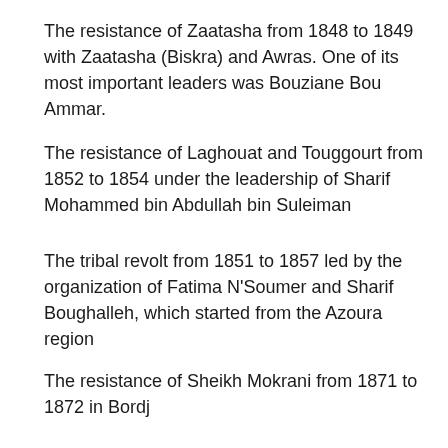The resistance of Zaatasha from 1848 to 1849 with Zaatasha (Biskra) and Awras. One of its most important leaders was Bouziane Bou Ammar.
The resistance of Laghouat and Touggourt from 1852 to 1854 under the leadership of Sharif Mohammed bin Abdullah bin Suleiman
The tribal revolt from 1851 to 1857 led by the organization of Fatima N'Soumer and Sharif Boughalleh, which started from the Azoura region
The revolt of the people of Sidi Cheikh from 1864 to 1880 in Al-Baid, Jabal Ammour, Al-Tetri, Sur el-Ghozlane, Azoura and Tiaret, led by Suleiman Ben Hamza and Ahmed Ben Hamza.
The resistance of Sheikh Mokrani from 1871 to 1872 in Bordj